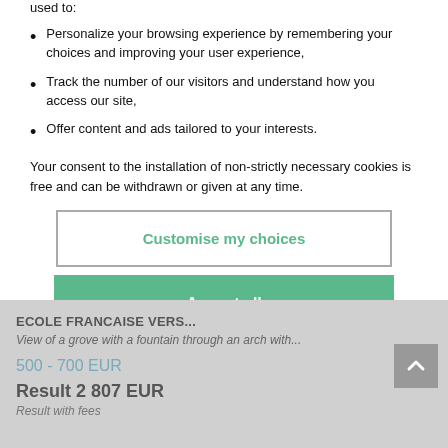used to:
Personalize your browsing experience by remembering your choices and improving your user experience,
Track the number of our visitors and understand how you access our site,
Offer content and ads tailored to your interests.
Your consent to the installation of non-strictly necessary cookies is free and can be withdrawn or given at any time.
Customise my choices
Accept all
ECOLE FRANCAISE VERS...
View of a grove with a fountain through an arch with...
500 - 700 EUR
Result 2 807 EUR
Result with fees